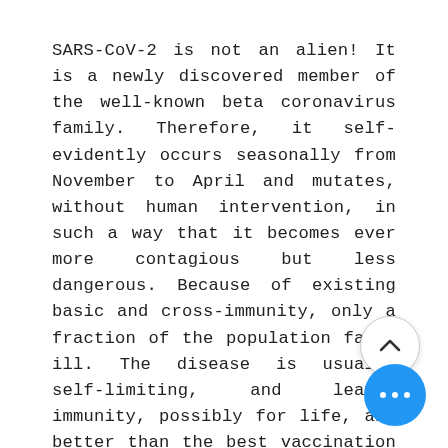SARS-CoV-2 is not an alien! It is a newly discovered member of the well-known beta coronavirus family. Therefore, it self-evidently occurs seasonally from November to April and mutates, without human intervention, in such a way that it becomes ever more contagious but less dangerous. Because of existing basic and cross-immunity, only a fraction of the population falls ill. The disease is usually self-limiting, and leaves immunity, possibly for life, and better than the best vaccination ever could. It kills comparatively few people and, unlike influenza, children.